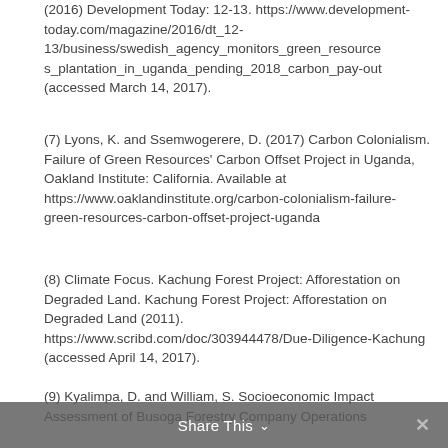(2016) Development Today: 12-13. https://www.development-today.com/magazine/2016/dt_12-13/business/swedish_agency_monitors_green_resources_plantation_in_uganda_pending_2018_carbon_pay-out (accessed March 14, 2017).
(7) Lyons, K. and Ssemwogerere, D. (2017) Carbon Colonialism. Failure of Green Resources' Carbon Offset Project in Uganda, Oakland Institute: California. Available at https://www.oaklandinstitute.org/carbon-colonialism-failure-green-resources-carbon-offset-project-uganda
(8) Climate Focus. Kachung Forest Project: Afforestation on Degraded Land. Kachung Forest Project: Afforestation on Degraded Land (2011). https://www.scribd.com/doc/303944478/Due-Diligence-Kachung (accessed April 14, 2017).
(9) Kyalimpa, D. and William, S. Socioeconomic Impact Assessment of Busoga Forestry Company Operations
Share This